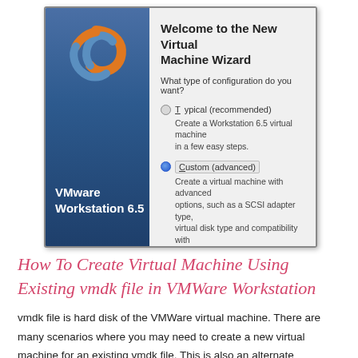[Figure (screenshot): VMware Workstation 6.5 New Virtual Machine Wizard dialog showing configuration type selection. Left panel is dark blue with VMware logo and 'VMware Workstation 6.5' label. Right panel shows wizard title 'Welcome to the New Virtual Machine Wizard', question 'What type of configuration do you want?', radio option 'Typical (recommended)' with description, and selected radio option 'Custom (advanced)' with description about SCSI adapter type, virtual disk type and compatibility with older VMware products.]
How To Create Virtual Machine Using Existing vmdk file in VMWare Workstation
vmdk file is hard disk of the VMWare virtual machine. There are many scenarios where you may need to create a new virtual machine for an existing vmdk file. This is also an alternate